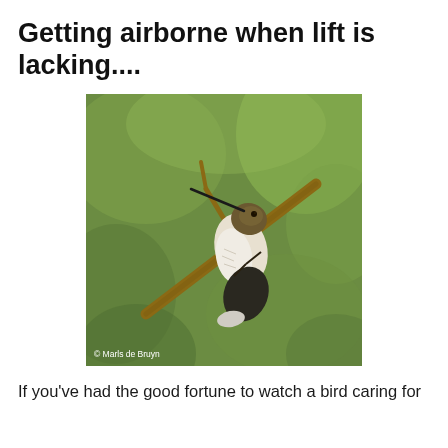Getting airborne when lift is lacking....
[Figure (photo): A hummingbird clinging sideways to a diagonal twig or branch against a blurred green background, with its beak pointed upward. The bird has a brownish-green head and white/tan breast feathers with dark tail feathers. Photo credit: © Marls de Bruyn]
If you've had the good fortune to watch a bird caring for